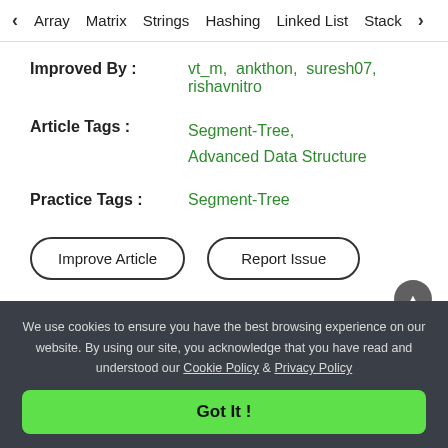< Array   Matrix   Strings   Hashing   Linked List   Stack >
Improved By : vt_m, ankthon, suresh07, rishavnitro
Article Tags : Segment-Tree, Advanced Data Structure
Practice Tags : Segment-Tree
Improve Article
Report Issue
We use cookies to ensure you have the best browsing experience on our website. By using our site, you acknowledge that you have read and understood our Cookie Policy & Privacy Policy
Got It !